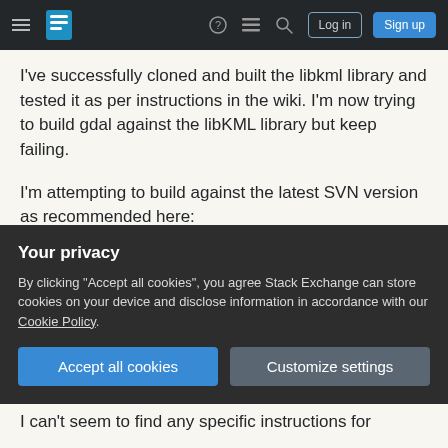Stack Exchange navigation bar with hamburger menu, logo, help, chat, search icons, Log in and Sign up buttons
I've successfully cloned and built the libkml library and tested it as per instructions in the wiki. I'm now trying to build gdal against the libKML library but keep failing.
I'm attempting to build against the latest SVN version as recommended here: http://www.gdal.org/drv_libkml.html
When running configure my system finds the Google KML headers but can't find the libkml library,
Your privacy
By clicking "Accept all cookies", you agree Stack Exchange can store cookies on your device and disclose information in accordance with our Cookie Policy.
Accept all cookies
Customize settings
I can't seem to find any specific instructions for